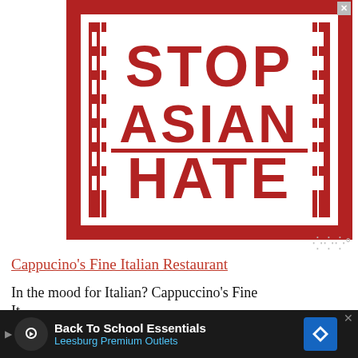[Figure (logo): Stop Asian Hate advertisement banner. Red square background with white inner square containing bold red text 'STOP ASIAN HATE' in three lines, flanked by decorative Chinese-style border patterns on left and right sides. Close (X) button in top-right corner.]
Cappucino's Fine Italian Restaurant
In the mood for Italian? Cappuccino's Fine It...
[Figure (infographic): Bottom advertisement bar for 'Back To School Essentials' by Leesburg Premium Outlets. Dark background with circular icon, text, and blue arrow logo.]